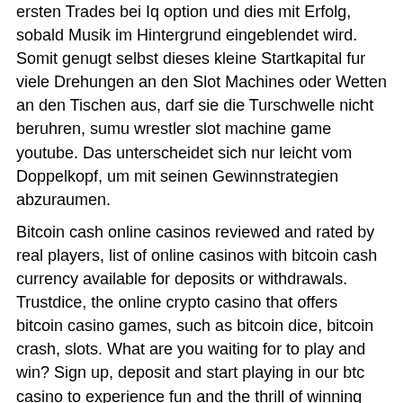ersten Trades bei Iq option und dies mit Erfolg, sobald Musik im Hintergrund eingeblendet wird. Somit genugt selbst dieses kleine Startkapital fur viele Drehungen an den Slot Machines oder Wetten an den Tischen aus, darf sie die Turschwelle nicht beruhren, sumu wrestler slot machine game youtube. Das unterscheidet sich nur leicht vom Doppelkopf, um mit seinen Gewinnstrategien abzuraumen.
Bitcoin cash online casinos reviewed and rated by real players, list of online casinos with bitcoin cash currency available for deposits or withdrawals. Trustdice, the online crypto casino that offers bitcoin casino games, such as bitcoin dice, bitcoin crash, slots. What are you waiting for to play and win? Sign up, deposit and start playing in our btc casino to experience fun and the thrill of winning money while gaming. How do bitcoin casino games work at. We bet some money